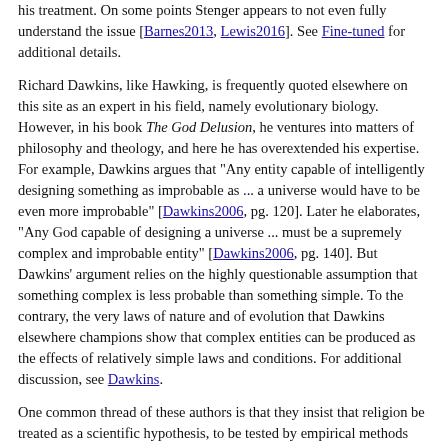his treatment. On some points Stenger appears to not even fully understand the issue [Barnes2013, Lewis2016]. See Fine-tuned for additional details.
Richard Dawkins, like Hawking, is frequently quoted elsewhere on this site as an expert in his field, namely evolutionary biology. However, in his book The God Delusion, he ventures into matters of philosophy and theology, and here he has overextended his expertise. For example, Dawkins argues that "Any entity capable of intelligently designing something as improbable as ... a universe would have to be even more improbable" [Dawkins2006, pg. 120]. Later he elaborates, "Any God capable of designing a universe ... must be a supremely complex and improbable entity" [Dawkins2006, pg. 140]. But Dawkins' argument relies on the highly questionable assumption that something complex is less probable than something simple. To the contrary, the very laws of nature and of evolution that Dawkins elsewhere champions show that complex entities can be produced as the effects of relatively simple laws and conditions. For additional discussion, see Dawkins.
One common thread of these authors is that they insist that religion be treated as a scientific hypothesis, to be tested by empirical methods and rejected if found wanting. But most other scholars disagree with this premise. As John Haught observes, "thinking of God as a hypothesis reduces the infinite divine mystery to a finite